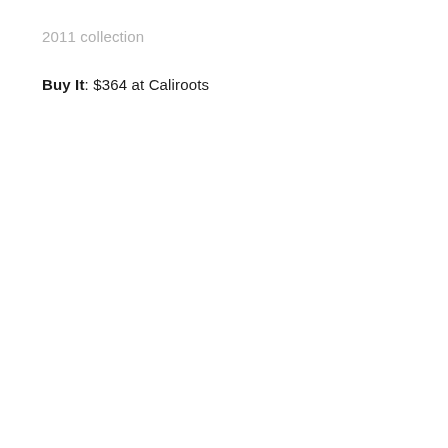2011 collection
Buy It: $364 at Caliroots